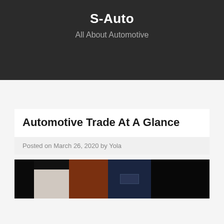S-Auto
All About Automotive
Automotive Trade At A Glance
Posted on March 26, 2020 by Yola
[Figure (photo): A dark composite photo strip showing segments including a brick wall, a white screen/panel, another brick segment, and a dimly lit studio or stage area with a desk visible.]